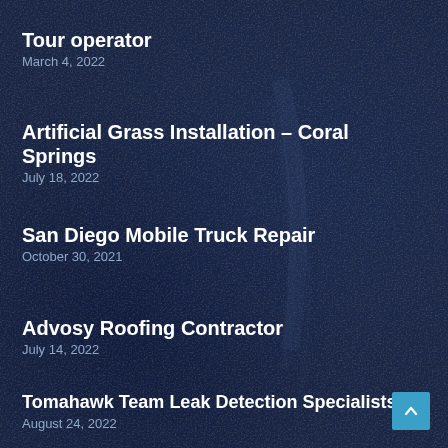Tour operator
March 4, 2022
Artificial Grass Installation – Coral Springs
July 18, 2022
San Diego Mobile Truck Repair
October 30, 2021
Advosy Roofing Contractor
July 14, 2022
Tomahawk Team Leak Detection Specialists
August 24, 2022